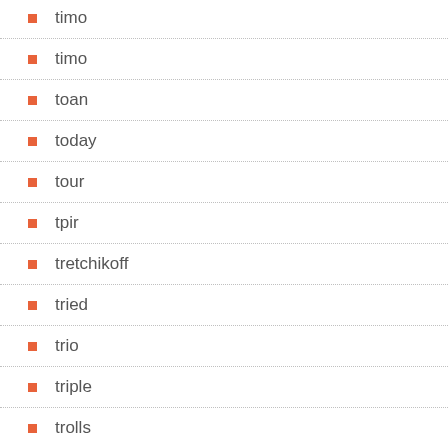timo
timo
toan
today
tour
tpir
tretchikoff
tried
trio
triple
trolls